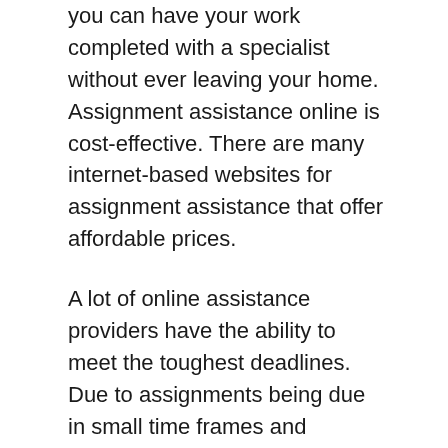you can have your work completed with a specialist without ever leaving your home. Assignment assistance online is cost-effective. There are many internet-based websites for assignment assistance that offer affordable prices.
A lot of online assistance providers have the ability to meet the toughest deadlines. Due to assignments being due in small time frames and students are able to hire experts to handle assignments for them. With 24/7 assistance, these experts will complete your tasks on time and leave you more time to concentrate on other studies. What can you do to ensure that you complete your task by the due date?
Online assignment assistance services are accessible to students who need help with both physics and programming. Students are sometimes forced to write their essays in the most unpleasant times. But this i...